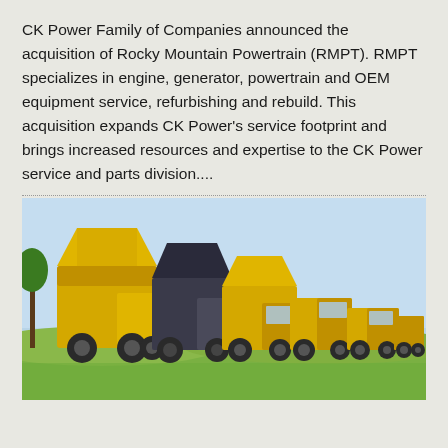CK Power Family of Companies announced the acquisition of Rocky Mountain Powertrain (RMPT). RMPT specializes in engine, generator, powertrain and OEM equipment service, refurbishing and rebuild. This acquisition expands CK Power's service footprint and brings increased resources and expertise to the CK Power service and parts division....
[Figure (photo): A row of large yellow mining dump trucks and heavy equipment vehicles lined up in a green field under a light blue sky.]